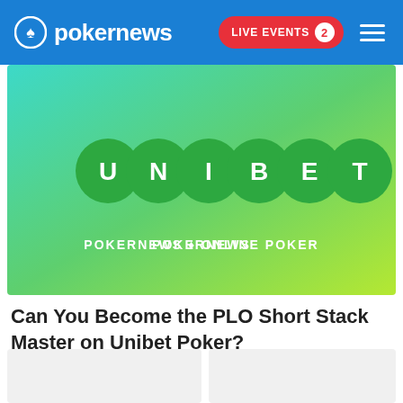pokernews — LIVE EVENTS 2
[Figure (illustration): Unibet logo on a cyan-to-lime green gradient background with text 'POKERNEWS • ONLINE POKER' at the bottom]
Can You Become the PLO Short Stack Master on Unibet Poker?
[Figure (illustration): Partial thumbnail card left — light gray placeholder]
[Figure (illustration): Partial thumbnail card right — light gray placeholder]